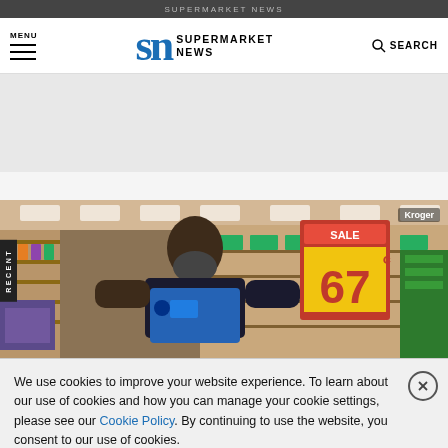SUPERMARKET NEWS
[Figure (photo): Kroger supermarket employee wearing a blue apron and face mask stocking shelves, with a sale sign showing 67 cents visible in the background]
We use cookies to improve your website experience. To learn about our use of cookies and how you can manage your cookie settings, please see our Cookie Policy. By continuing to use the website, you consent to our use of cookies.